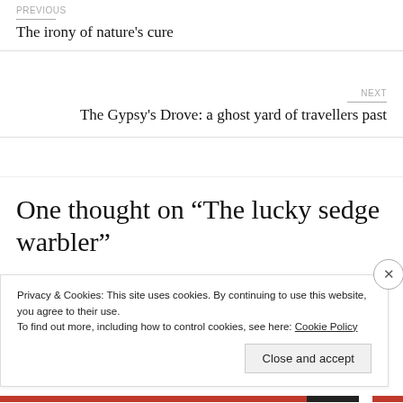PREVIOUS
The irony of nature's cure
NEXT
The Gypsy's Drove: a ghost yard of travellers past
One thought on “The lucky sedge warbler”
Privacy & Cookies: This site uses cookies. By continuing to use this website, you agree to their use.
To find out more, including how to control cookies, see here: Cookie Policy
Close and accept